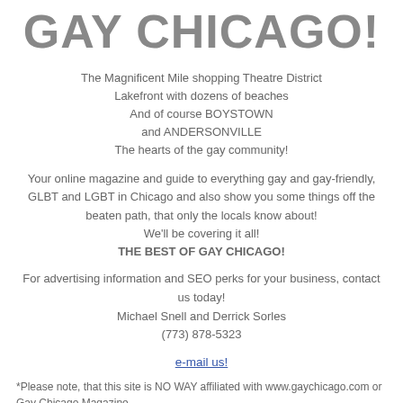GAY CHICAGO!
The Magnificent Mile shopping Theatre District
Lakefront with dozens of beaches
And of course BOYSTOWN
and ANDERSONVILLE
The hearts of the gay community!
Your online magazine and guide to everything gay and gay-friendly, GLBT and LGBT in Chicago and also show you some things off the beaten path, that only the locals know about!
We'll be covering it all!
THE BEST OF GAY CHICAGO!
For advertising information and SEO perks for your business, contact us today!
Michael Snell and Derrick Sorles
(773) 878-5323
e-mail us!
*Please note, that this site is NO WAY affiliated with www.gaychicago.com or Gay Chicago Magazine.